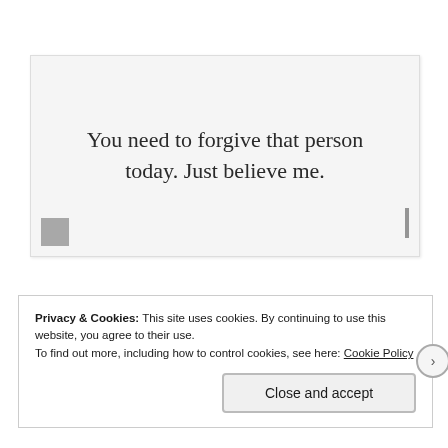[Figure (photo): A fortune cookie paper slip showing the text: 'You need to forgive that person today. Just believe me.' printed in a serif font on a white background. A small dark stamp/mark is visible at the bottom-left and a thin vertical line at the bottom-right.]
Privacy & Cookies: This site uses cookies. By continuing to use this website, you agree to their use.
To find out more, including how to control cookies, see here: Cookie Policy
Close and accept